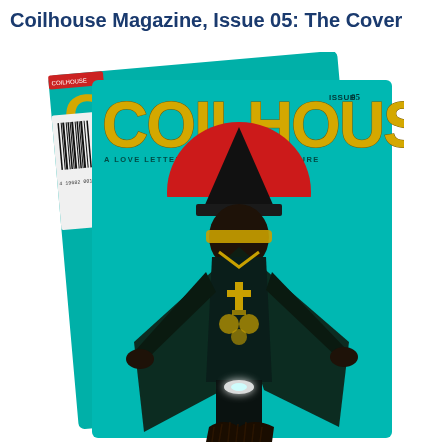Coilhouse Magazine, Issue 05: The Cover
[Figure (photo): Two overlapping copies of Coilhouse Magazine Issue 05. The front cover shows a stylized figure in a tall black hat, metallic cape, gold jewelry, and futuristic visor against a teal background with a red semicircle. The title 'COILHOUSE' appears in large gold letters. Tagline: 'A LOVE LETTER TO ALTERNATIVE CULTURE'. Issue number: ISSUE05. A second copy is visible behind, slightly rotated, with a barcode strip visible on its left edge.]